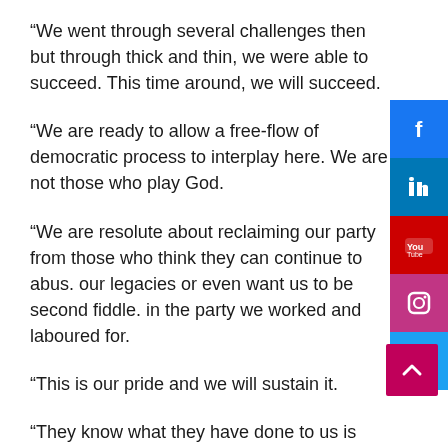“We went through several challenges then but through thick and thin, we were able to succeed. This time around, we will succeed.
“We are ready to allow a free-flow of democratic process to interplay here. We are not those who play God.
“We are resolute about reclaiming our party from those who think they can continue to abuse our legacies or even want us to be second fiddles in the party we worked and laboured for.
“This is our pride and we will sustain it.
“They know what they have done to us is bad and
[Figure (other): Social media sidebar buttons: Facebook (blue), LinkedIn (blue), YouTube (red), Instagram (pink/purple), Twitter (blue)]